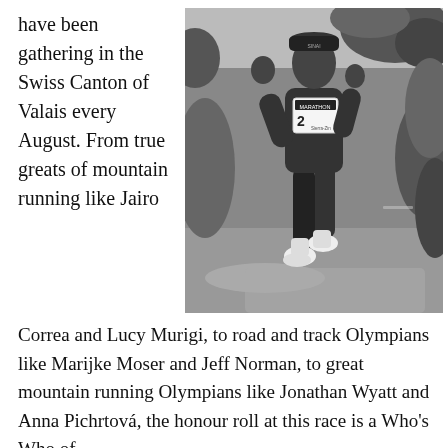have been gathering in the Swiss Canton of Valais every August. From true greats of mountain running like Jairo
[Figure (photo): Black and white photograph of a marathon runner wearing bib number 2 (MARATHON / Sierra-Zin) running on a grassy trail path, wearing Sierra Zin race apparel.]
Correa and Lucy Murigi, to road and track Olympians like Marijke Moser and Jeff Norman, to great mountain running Olympians like Jonathan Wyatt and Anna Pichrtová, the honour roll at this race is a Who's Who of